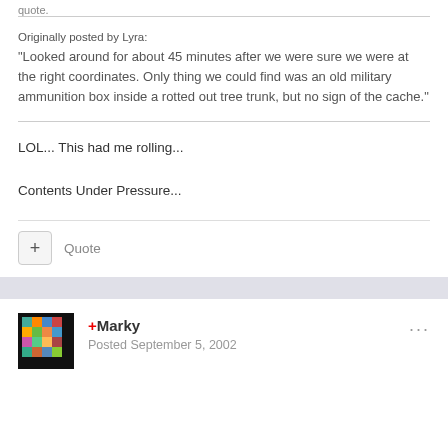quote.
Originally posted by Lyra:
"Looked around for about 45 minutes after we were sure we were at the right coordinates. Only thing we could find was an old military ammunition box inside a rotted out tree trunk, but no sign of the cache."
LOL... This had me rolling...
Contents Under Pressure...
Quote
+Marky
Posted September 5, 2002